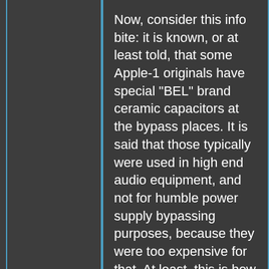Now, consider this info bite: it is known, or at least told, that some Apple-1 originals have special "BEL" brand ceramic capacitors at the bypass places. It is said that those typically were used in high end audio equipment, and not for humble power supply bypassing purposes, because they were too expensive for that. At least, this is how the story is told. The audio equipment application needing special capacitors even is credible, because some ceramic capacitors suffer from microphony: they may pick up mechanical vibrations, and turn them in an electrical signal, and in the end may act as an